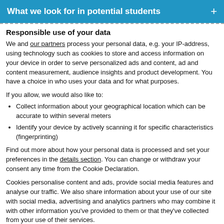What we look for in potential students
Responsible use of your data
We and our partners process your personal data, e.g. your IP-address, using technology such as cookies to store and access information on your device in order to serve personalized ads and content, ad and content measurement, audience insights and product development. You have a choice in who uses your data and for what purposes.
If you allow, we would also like to:
Collect information about your geographical location which can be accurate to within several meters
Identify your device by actively scanning it for specific characteristics (fingerprinting)
Find out more about how your personal data is processed and set your preferences in the details section. You can change or withdraw your consent any time from the Cookie Declaration.
Cookies personalise content and ads, provide social media features and analyse our traffic. We also share information about your use of our site with social media, advertising and analytics partners who may combine it with other information you've provided to them or that they've collected from your use of their services.
Allow selection | Allow all cookies
Necessary | Preferences | Statistics | Marketing | Show details